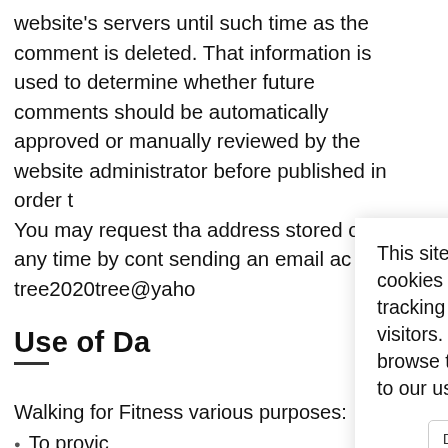website's servers until such time as the comment is deleted. That information is used to determine whether future comments should be automatically approved or manually reviewed by the website administrator before published in order t You may request tha address stored on t at any time by cont sending an email ac tree2020tree@yaho
Use of Da
Walking for Fitness various purposes:
To provic
[Figure (screenshot): Cookie consent dialog overlay with text: 'This site makes use of cookies which may contain tracking information about visitors. By continuing to browse this site you agree to our use of cookies.' with 'Don't Accept' and 'OK' buttons.]